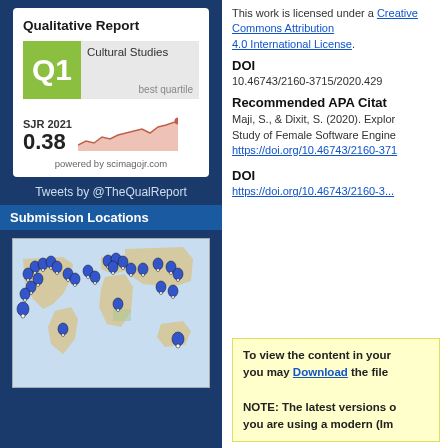[Figure (infographic): SJR Qualitative Report card showing Q1 quartile in Cultural Studies, SJR 2021 value of 0.38, and a sparkline chart showing trend over time. Powered by scimagojr.com.]
Tweets by @TheQualReport
Submission Locations
[Figure (map): World map showing submission locations marked with blue map pins concentrated in North America, Europe, and scattered globally.]
This work is licensed under a Creative Commons Attribution 4.0 International License.
DOI
10.46743/2160-3715/2020.429
Recommended APA Citation
Maji, S., & Dixit, S. (2020). Exploring... Study of Female Software Engineers. https://doi.org/10.46743/2160-371...
DOI
https://doi.org/10.46743/2160-3...
To view the content in your browser, you may Download the file here.

NOTE: The latest versions of Adobe Reader do not support viewing PDF files within Firefox on Mac OS and if you are using a modern (Im...